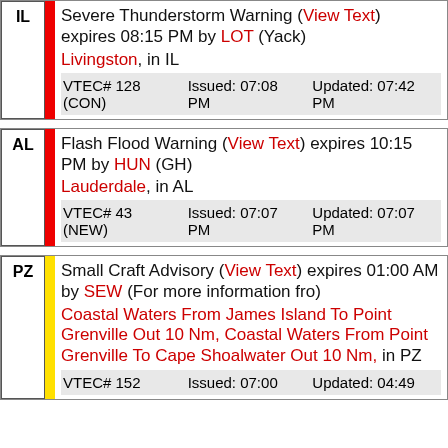IL | Severe Thunderstorm Warning (View Text) expires 08:15 PM by LOT (Yack) Livingston, in IL | VTEC# 128 (CON) | Issued: 07:08 PM | Updated: 07:42 PM
AL | Flash Flood Warning (View Text) expires 10:15 PM by HUN (GH) Lauderdale, in AL | VTEC# 43 (NEW) | Issued: 07:07 PM | Updated: 07:07 PM
PZ | Small Craft Advisory (View Text) expires 01:00 AM by SEW (For more information fro) Coastal Waters From James Island To Point Grenville Out 10 Nm, Coastal Waters From Point Grenville To Cape Shoalwater Out 10 Nm, in PZ | VTEC# 152 | Issued: 07:00 | Updated: 04:49